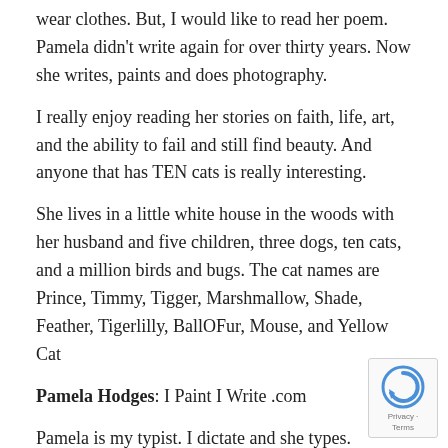wear clothes. But, I would like to read her poem. Pamela didn't write again for over thirty years. Now she writes, paints and does photography.
I really enjoy reading her stories on faith, life, art, and the ability to fail and still find beauty. And anyone that has TEN cats is really interesting.
She lives in a little white house in the woods with her husband and five children, three dogs, ten cats, and a million birds and bugs. The cat names are Prince, Timmy, Tigger, Marshmallow, Shade, Feather, Tigerlilly, BallOFur, Mouse, and Yellow Cat
Pamela Hodges: I Paint I Write .com
Pamela is my typist. I dictate and she types.